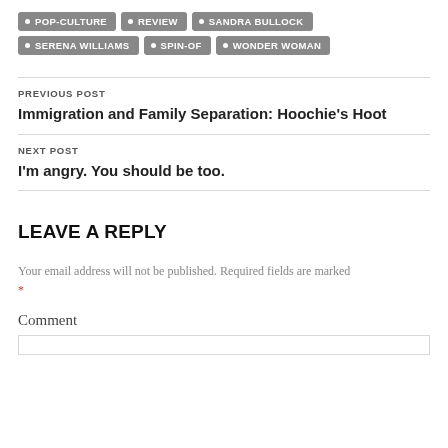• POP-CULTURE
• REVIEW
• SANDRA BULLOCK
• SERENA WILLIAMS
• SPIN-OF
• WONDER WOMAN
PREVIOUS POST
Immigration and Family Separation: Hoochie's Hoot
NEXT POST
I'm angry. You should be too.
LEAVE A REPLY
Your email address will not be published. Required fields are marked *
Comment